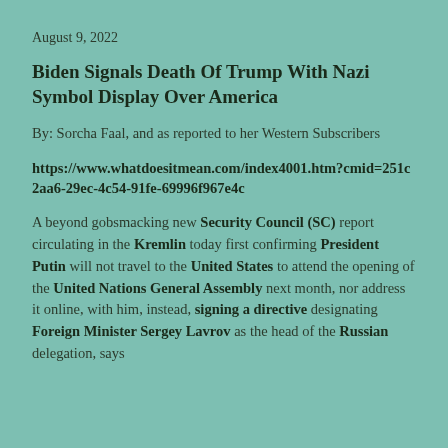August 9, 2022
Biden Signals Death Of Trump With Nazi Symbol Display Over America
By: Sorcha Faal, and as reported to her Western Subscribers
https://www.whatdoesitmean.com/index4001.htm?cmid=251c2aa6-29ec-4c54-91fe-69996f967e4c
A beyond gobsmacking new Security Council (SC) report circulating in the Kremlin today first confirming President Putin will not travel to the United States to attend the opening of the United Nations General Assembly next month, nor address it online, with him, instead, signing a directive designating Foreign Minister Sergey Lavrov as the head of the Russian delegation, says